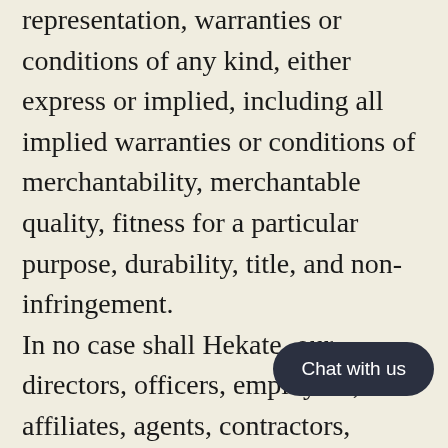representation, warranties or conditions of any kind, either express or implied, including all implied warranties or conditions of merchantability, merchantable quality, fitness for a particular purpose, durability, title, and non-infringement. In no case shall Hekate, our directors, officers, employees, affiliates, agents, contractors, interns, suppliers, service providers or licensors be liable for any injury, loss, claim, or any direct, indirect, incidental, punitive, special, or consequential damages of any kind, including, without limitation lost profits, lost revenue, lost savings, loss of data, replacement costs, or any similar damages, whether based in contract, tort (including negligence), strict liability or otherwise, arising from our use of any of the service or any products procured using the service, or for any other claim related in any way to